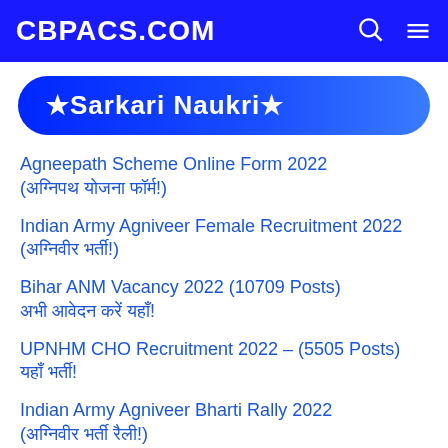CBPACS.COM
★Sarkari Naukri★
Agneepath Scheme Online Form 2022 (अग्निपथ योजना फॉर्म!)
Indian Army Agniveer Female Recruitment 2022 (अग्निवीर भर्ती!)
Bihar ANM Vacancy 2022 (10709 Posts) अभी आवेदन करें यहाँ!
UPNHM CHO Recruitment 2022 – (5505 Posts) यहाँ भर्ती!
Indian Army Agniveer Bharti Rally 2022 (अग्निवीर भर्ती रैली!)
Indian Navy Agniveer Recruitment 2022 (अग्निवीर भर्ती!)